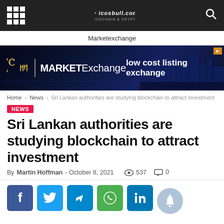Marketexchange navigation bar
Marketexchange
[Figure (illustration): MarketExchange banner ad with cityscape background. Text: MARKET Exchange | low cost listing exchange]
Home > News > Sri Lankan authorities are studying blockchain to attract investment
NEWS
Sri Lankan authorities are studying blockchain to attract investment
By Martin Hoffman - October 8, 2021   537   0
[Figure (infographic): Social sharing buttons: Facebook, Twitter, Telegram, WhatsApp, LinkedIn, and a notification bell button]